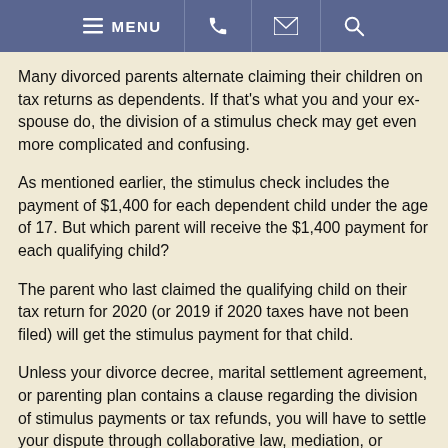MENU [phone] [email] [search]
Many divorced parents alternate claiming their children on tax returns as dependents. If that’s what you and your ex-spouse do, the division of a stimulus check may get even more complicated and confusing.
As mentioned earlier, the stimulus check includes the payment of $1,400 for each dependent child under the age of 17. But which parent will receive the $1,400 payment for each qualifying child?
The parent who last claimed the qualifying child on their tax return for 2020 (or 2019 if 2020 taxes have not been filed) will get the stimulus payment for that child.
Unless your divorce decree, marital settlement agreement, or parenting plan contains a clause regarding the division of stimulus payments or tax refunds, you will have to settle your dispute through collaborative law, mediation, or litigation.